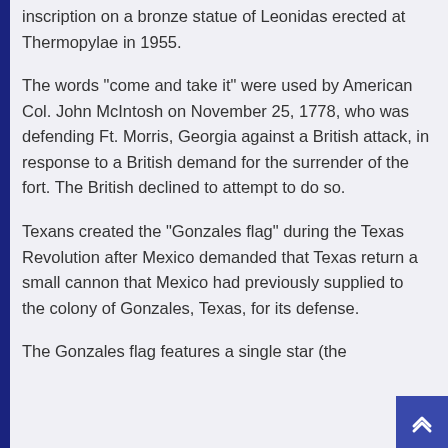inscription on a bronze statue of Leonidas erected at Thermopylae in 1955.
The words “come and take it” were used by American Col. John McIntosh on November 25, 1778, who was defending Ft. Morris, Georgia against a British attack, in response to a British demand for the surrender of the fort. The British declined to attempt to do so.
Texans created the “Gonzales flag” during the Texas Revolution after Mexico demanded that Texas return a small cannon that Mexico had previously supplied to the colony of Gonzales, Texas, for its defense.
The Gonzales flag features a single star (the